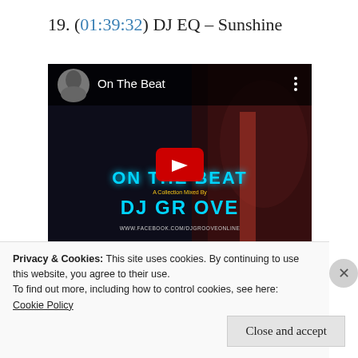19. (01:39:32) DJ EQ – Sunshine
[Figure (screenshot): YouTube video thumbnail showing 'On The Beat' channel with DJ Groove music mix thumbnail. Dark background with a woman in the image, text overlay reading 'ON THE BEAT', 'A Collection Mixed By', 'DJ GROOVE', 'WWW.FACEBOOK.COM/DJGROOVEONLINE'. Red YouTube play button in center.]
Privacy & Cookies: This site uses cookies. By continuing to use this website, you agree to their use.
To find out more, including how to control cookies, see here:
Cookie Policy